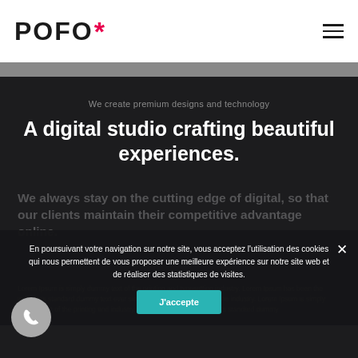POFO* [logo] [hamburger menu]
We create premium designs and technology
A digital studio crafting beautiful experiences.
We always stay on the cutting edge of digital, so that our clients maintain their competitive advantage online.
Lorem Ipsum is simply dummy text of the printing and typesetting industry. Lorem Ipsum has been the industry's standard dummy text ever since. Lorem Ipsum has been the industry. Lorem Ipsum is simply dummy text of the printing and industry. Lorem Ipsum is the industry's standard dummy
En poursuivant votre navigation sur notre site, vous acceptez l'utilisation des cookies qui nous permettent de vous proposer une meilleure expérience sur notre site web et de réaliser des statistiques de visites.
J'accepte